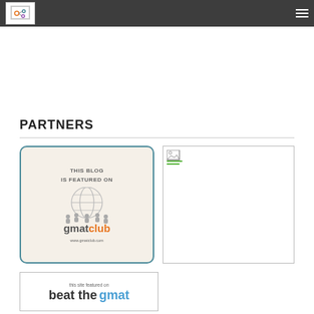PARTNERS
[Figure (logo): GMAT Club badge: 'THIS BLOG IS FEATURED ON gmatclub www.gmatclub.com']
[Figure (photo): Broken/missing image placeholder]
[Figure (logo): Beat the GMAT badge: 'this site featured on beat the gmat']